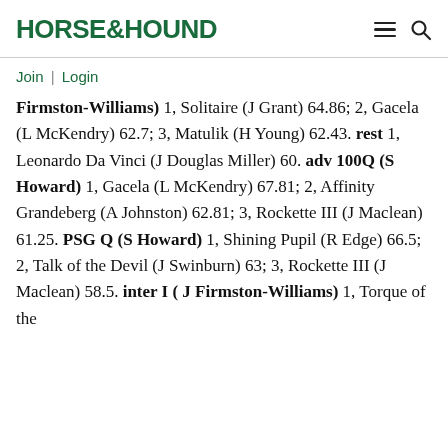HORSE&HOUND
Join | Login
Firmston-Williams) 1, Solitaire (J Grant) 64.86; 2, Gacela (L McKendry) 62.7; 3, Matulik (H Young) 62.43. rest 1, Leonardo Da Vinci (J Douglas Miller) 60. adv 100Q (S Howard) 1, Gacela (L McKendry) 67.81; 2, Affinity Grandeberg (A Johnston) 62.81; 3, Rockette III (J Maclean) 61.25. PSG Q (S Howard) 1, Shining Pupil (R Edge) 66.5; 2, Talk of the Devil (J Swinburn) 63; 3, Rockette III (J Maclean) 58.5. inter I ( J Firmston-Williams) 1, Torque of the